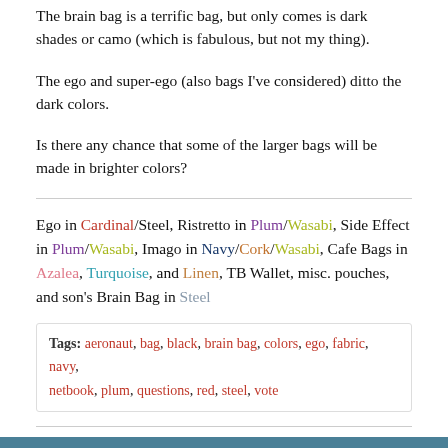The brain bag is a terrific bag, but only comes is dark shades or camo (which is fabulous, but not my thing).
The ego and super-ego (also bags I've considered) ditto the dark colors.
Is there any chance that some of the larger bags will be made in brighter colors?
Ego in Cardinal/Steel, Ristretto in Plum/Wasabi, Side Effect in Plum/Wasabi, Imago in Navy/Cork/Wasabi, Cafe Bags in Azalea, Turquoise, and Linen, TB Wallet, misc. pouches, and son's Brain Bag in Steel
Tags: aeronaut, bag, black, brain bag, colors, ego, fabric, navy, netbook, plum, questions, red, steel, vote
WhiteStar
Forum Member
Join Date: Jan 2012   Posts: 156
01-21-2012, 04:27 PM   #2
As usual I think I want to go: From Patent Black Or Steel Or...